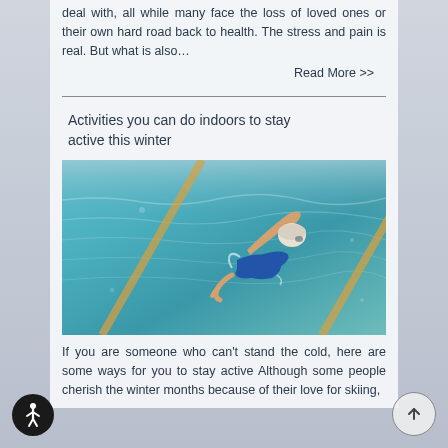deal with, all while many face the loss of loved ones or their own hard road back to health. The stress and pain is real. But what is also…
Read More >>
Activities you can do indoors to stay active this winter
[Figure (photo): Aerial/overhead view of an elderly woman in a blue swimsuit swimming in a pool with lane dividers visible]
If you are someone who can't stand the cold, here are some ways for you to stay active Although some people cherish the winter months because of their love for skiing,